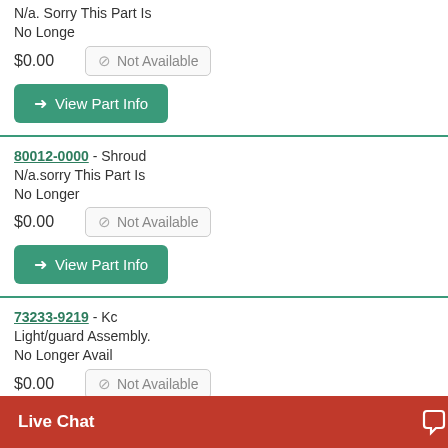N/a. Sorry This Part Is No Longe $0.00
View Part Info
80012-0000 - Shroud N/a.sorry This Part Is No Longer $0.00
View Part Info
73233-9219 - Kc Light/guard Assembly. No Longer Avail $0.00
View Part Info
76229-4219 - Rear Roll-bar N/a. Sor
Live Chat